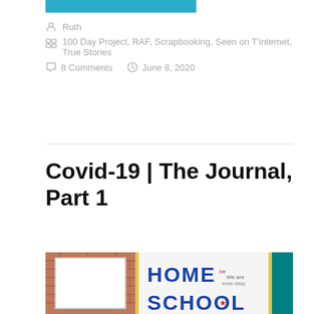[Figure (other): Teal/blue rectangular button or header bar at top]
Ruth
100 Day Project, RAF, Scrapbooking, Seen on T'internet, True Stories
8 Comments   June 8, 2020
Covid-19 | The Journal, Part 1
[Figure (photo): Photo of a scrapbook journal with HOME SCHOOL text letters in blue and red on a white/decorative background]